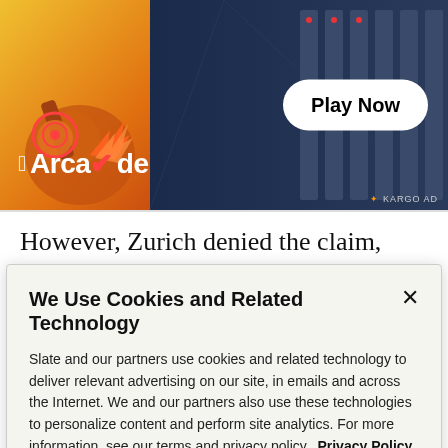[Figure (screenshot): Apple Arcade advertisement banner with game imagery — robotic arm on warm orange background left side, dark blue corridor game scene right side, Apple Arcade logo bottom left, 'Play Now' white pill button center-right, KARGO AD badge bottom right]
However, Zurich denied the claim, citing intelligence agencies' verdict that NotPetya was part of a Russian attack on Ukraine, and referring to a clause in the company's policy exempting coverage of damage caused
We Use Cookies and Related Technology
Slate and our partners use cookies and related technology to deliver relevant advertising on our site, in emails and across the Internet. We and our partners also use these technologies to personalize content and perform site analytics. For more information, see our terms and privacy policy. Privacy Policy
OK